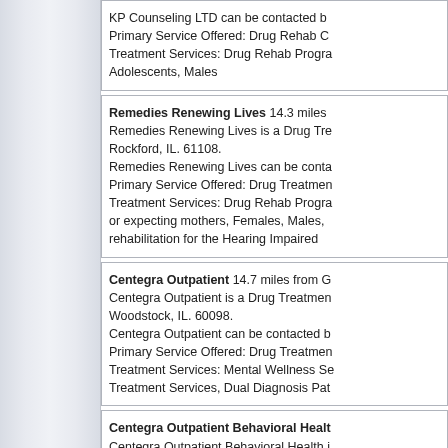KP Counseling LTD can be contacted b... Primary Service Offered: Drug Rehab C... Treatment Services: Drug Rehab Progra... Adolescents, Males
Remedies Renewing Lives 14.3 miles ... Remedies Renewing Lives is a Drug Tre... Rockford, IL. 61108. Remedies Renewing Lives can be conta... Primary Service Offered: Drug Treatment... Treatment Services: Drug Rehab Progra... or expecting mothers, Females, Males, ... rehabilitation for the Hearing Impaired
Centegra Outpatient 14.7 miles from G... Centegra Outpatient is a Drug Treatment... Woodstock, IL. 60098. Centegra Outpatient can be contacted b... Primary Service Offered: Drug Treatmen... Treatment Services: Mental Wellness Se... Treatment Services, Dual Diagnosis Pat...
Centegra Outpatient Behavioral Healt... Centegra Outpatient Behavioral Health i... Street Woodstock, IL. 60098. Centegra Outpatient Behavioral Health c... Primary Service Offered: Drug Rehab ... Treatment Services: Drug Rehab Progra... rehabilitation for the Hearing Impaired